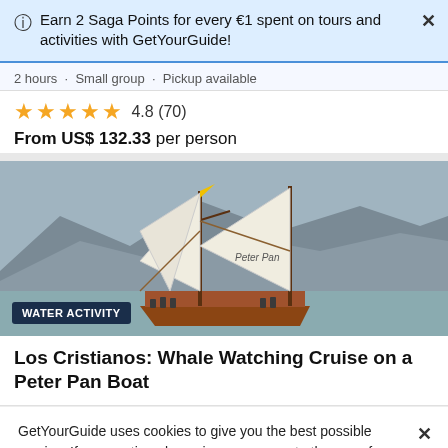Earn 2 Saga Points for every €1 spent on tours and activities with GetYourGuide!
2 hours · Small group · Pickup available
★★★★★ 4.8 (70)
From US$ 132.33 per person
[Figure (photo): Sailing boat named Peter Pan with white sails and wooden hull, on the water with mountains in background. People visible on deck.]
WATER ACTIVITY
Los Cristianos: Whale Watching Cruise on a Peter Pan Boat
GetYourGuide uses cookies to give you the best possible service. If you continue browsing, you agree to the use of cookies. More details can be found in our privacy policy.